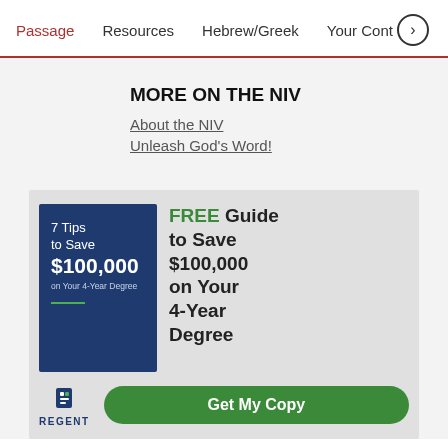Passage   Resources   Hebrew/Greek   Your Cont >
MORE ON THE NIV
About the NIV
Unleash God's Word!
[Figure (illustration): Advertisement for Regent University: '7 Tips to Save $100,000 on Your 4-Year Degree' book cover shown alongside text 'FREE Guide to Save $100,000 on Your 4-Year Degree' and a 'Get My Copy' button with Regent logo.]